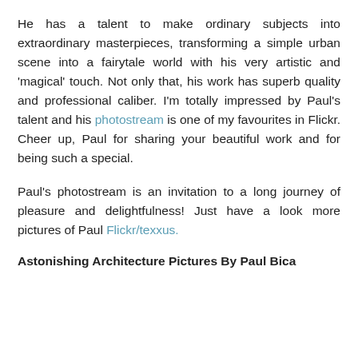He has a talent to make ordinary subjects into extraordinary masterpieces, transforming a simple urban scene into a fairytale world with his very artistic and 'magical' touch. Not only that, his work has superb quality and professional caliber. I'm totally impressed by Paul's talent and his photostream is one of my favourites in Flickr. Cheer up, Paul for sharing your beautiful work and for being such a special.
Paul's photostream is an invitation to a long journey of pleasure and delightfulness! Just have a look more pictures of Paul Flickr/texxus.
Astonishing Architecture Pictures By Paul Bica